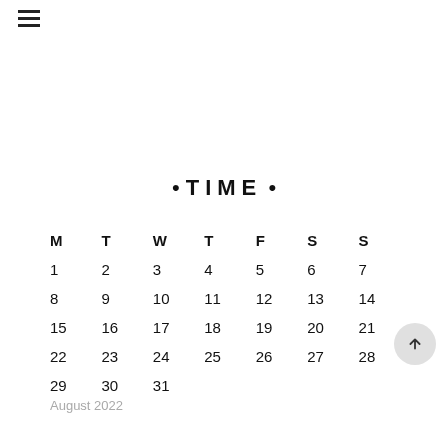[Figure (other): Hamburger menu icon (three horizontal lines) in top-left corner]
• TIME •
| M | T | W | T | F | S | S |
| --- | --- | --- | --- | --- | --- | --- |
| 1 | 2 | 3 | 4 | 5 | 6 | 7 |
| 8 | 9 | 10 | 11 | 12 | 13 | 14 |
| 15 | 16 | 17 | 18 | 19 | 20 | 21 |
| 22 | 23 | 24 | 25 | 26 | 27 | 28 |
| 29 | 30 | 31 |  |  |  |  |
August 2022